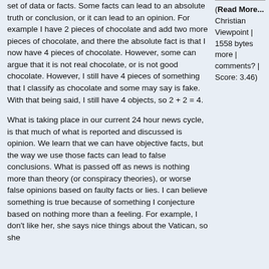set of data or facts. Some facts can lead to an absolute truth or conclusion, or it can lead to an opinion. For example I have 2 pieces of chocolate and add two more pieces of chocolate, and there the absolute fact is that I now have 4 pieces of chocolate. However, some can argue that it is not real chocolate, or is not good chocolate. However, I still have 4 pieces of something that I classify as chocolate and some may say is fake. With that being said, I still have 4 objects, so 2 + 2 = 4.
What is taking place in our current 24 hour news cycle, is that much of what is reported and discussed is opinion. We learn that we can have objective facts, but the way we use those facts can lead to false conclusions. What is passed off as news is nothing more than theory (or conspiracy theories), or worse false opinions based on faulty facts or lies. I can believe something is true because of something I conjecture based on nothing more than a feeling. For example, I don't like her, she says nice things about the Vatican, so she
(Read More... Christian Viewpoint | 1558 bytes more | comments? | Score: 3.46)